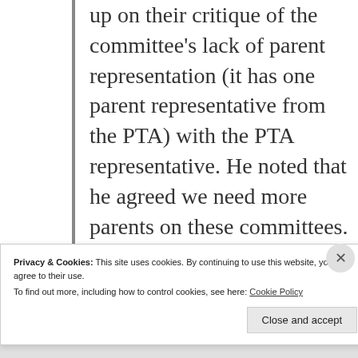up on their critique of the committee's lack of parent representation (it has one parent representative from the PTA) with the PTA representative. He noted that he agreed we need more parents on these committees. One of the parents
Privacy & Cookies: This site uses cookies. By continuing to use this website, you agree to their use. To find out more, including how to control cookies, see here: Cookie Policy
Close and accept